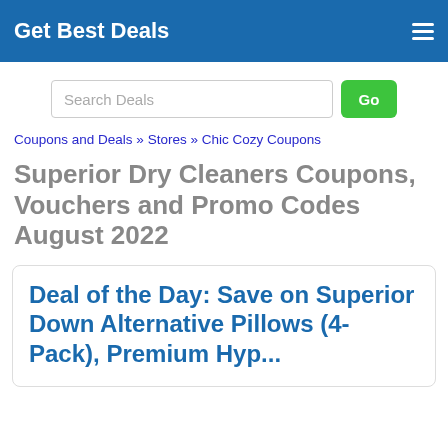Get Best Deals
Search Deals
Go
Coupons and Deals » Stores » Chic Cozy Coupons
Superior Dry Cleaners Coupons, Vouchers and Promo Codes August 2022
Deal of the Day: Save on Superior Down Alternative Pillows (4-Pack), Premium Hyp...